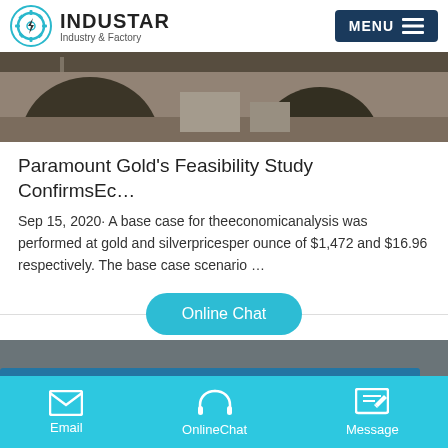INDUSTAR — Industry & Factory
[Figure (photo): Industrial factory interior with arched ceiling and equipment]
Paramount Gold's Feasibility Study ConfirmsEc…
Sep 15, 2020· A base case for theeconomicanalysis was performed at gold and silverpricesper ounce of $1,472 and $16.96 respectively. The base case scenario …
[Figure (photo): Blue industrial machinery on a platform]
Email   OnlineChat   Message